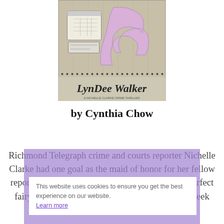[Figure (illustration): Book cover showing a high-heeled shoe, a calendar/planner, and the author name LynDee Walker in cursive script, set against a beige/tan background with a dotted border stripe]
by Cynthia Chow
Richmond Telegraph crime and courts reporter Nichelle Clarke had one goal as the maid of honor for her fellow reporters Melanie and Grant Parker: deliver the perfect fairytale wedding. Those plans were to begin a week before the
This website uses cookies to ensure you get the best experience on our website. Learn more